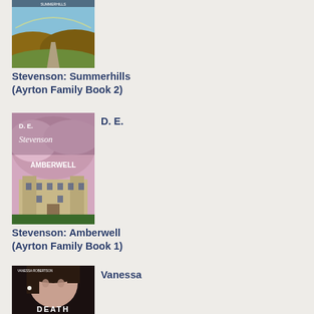[Figure (illustration): Book cover for Stevenson: Summerhills (Ayrton Family Book 2) showing a rural landscape with hills and a road]
Stevenson: Summerhills (Ayrton Family Book 2)
[Figure (illustration): Book cover for D.E. Stevenson: Amberwell (Ayrton Family Book 1) showing a large manor house with clouds]
D. E.
Stevenson: Amberwell (Ayrton Family Book 1)
[Figure (illustration): Book cover for Vanessa Robertson: Death... showing a woman's face in close-up]
Vanessa